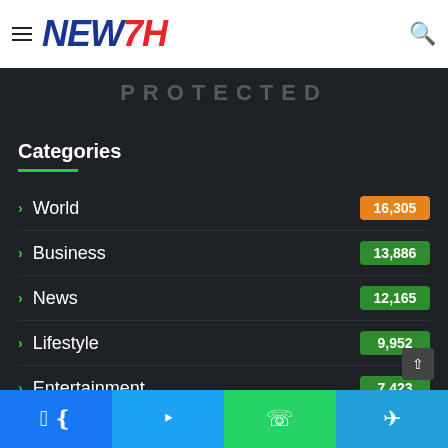[Figure (logo): NEW7H news website logo with hamburger menu and search icon]
PROTECTED
Categories
World 16,305
Business 13,886
News 12,165
Lifestyle 9,952
Entertainment 7,423
Sports 7,063
Tech 6,...